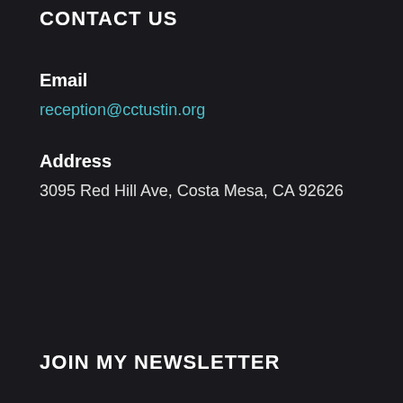CONTACT US
Email
reception@cctustin.org
Address
3095 Red Hill Ave, Costa Mesa, CA 92626
JOIN MY NEWSLETTER